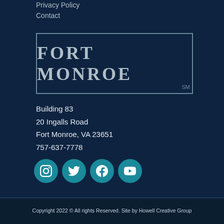Privacy Policy
Contact
[Figure (logo): Fort Monroe logo with rectangular border and 'SM' superscript]
Building 83
20 Ingalls Road
Fort Monroe, VA 23651
757-637-7778
[Figure (infographic): Social media icons: Instagram, Twitter, Facebook, YouTube]
Copyright 2022 © All rights Reserved. Site by Howell Creative Group